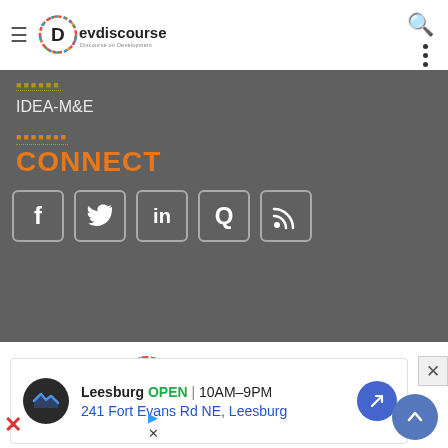Devdiscourse – Discourse on Development
IDEA-M&E
CONNECT
[Figure (logo): Social media icons: Facebook, Twitter, LinkedIn, Quora, RSS]
[Figure (logo): Devdiscourse logo – Discourse on Development]
Email: info@devdiscourse.com
[Figure (infographic): Advertisement: Leesburg OPEN 10AM–9PM, 241 Fort Evans Rd NE, Leesburg]